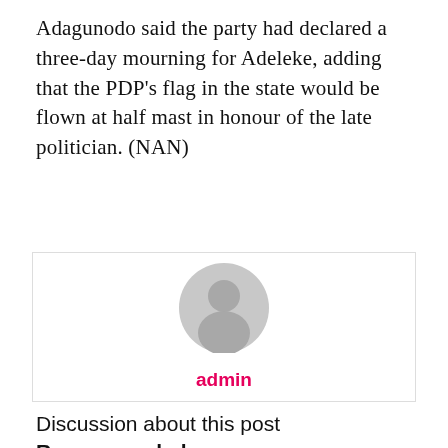Adagunodo said the party had declared a three-day mourning for Adeleke, adding that the PDP’s flag in the state would be flown at half mast in honour of the late politician. (NAN)
[Figure (illustration): Default user avatar — grey silhouette of a person on a light grey circle background, with the username 'admin' in bold pink/red below it, centered inside a bordered white box.]
admin
Discussion about this post
Recommended